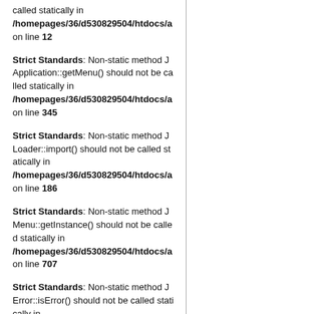called statically in /homepages/36/d530829504/htdocs/a on line 12
Strict Standards: Non-static method JApplication::getMenu() should not be called statically in /homepages/36/d530829504/htdocs/a on line 345
Strict Standards: Non-static method JLoader::import() should not be called statically in /homepages/36/d530829504/htdocs/a on line 186
Strict Standards: Non-static method JMenu::getInstance() should not be called statically in /homepages/36/d530829504/htdocs/a on line 707
Strict Standards: Non-static method JError::isError() should not be called statically in /homepages/36/d530829504/htdocs/a on line 708
Strict Standards: Non-static method